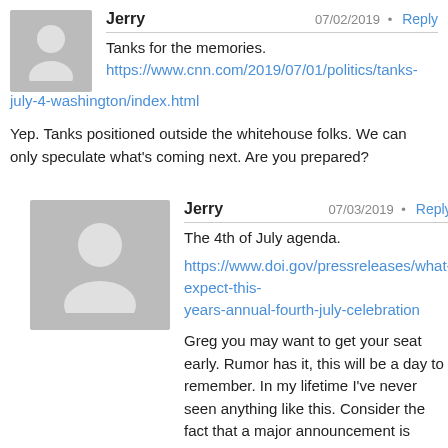Jerry · 07/02/2019 · Reply
Tanks for the memories.
https://www.cnn.com/2019/07/01/politics/tanks-july-4-washington/index.html
Yep. Tanks positioned outside the whitehouse folks. We can only speculate what's coming next. Are you prepared?
Jerry · 07/03/2019 · Reply
The 4th of July agenda.
https://www.doi.gov/pressreleases/what-expect-this-years-annual-fourth-july-celebration
Greg you may want to get your seat early. Rumor has it, this will be a day to remember. In my lifetime I've never seen anything like this. Consider the fact that a major announcement is coming on the heals of the G-20 meeting, and that another false flag attack in Alaska involving the Russians just took place. The